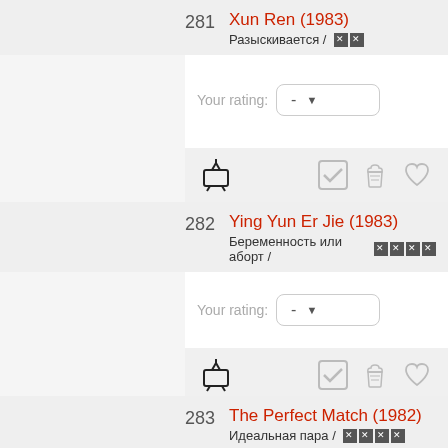281 Xun Ren (1983) Разыскивается / ██
282 Ying Yun Er Jie (1983) Беременность или аборт / ████
283 The Perfect Match (1982) Идеальная пара / ████
User rating: 6.5 (ratings: 1)